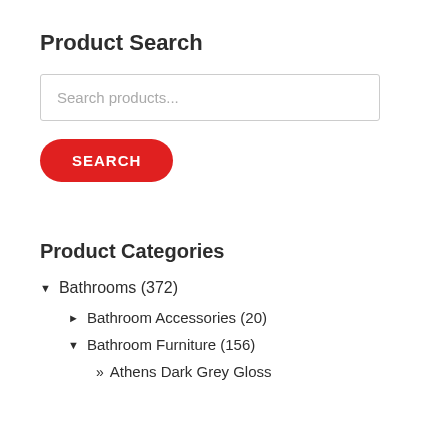Product Search
Search products...
SEARCH
Product Categories
▼ Bathrooms (372)
► Bathroom Accessories (20)
▼ Bathroom Furniture (156)
» Athens Dark Grey Gloss